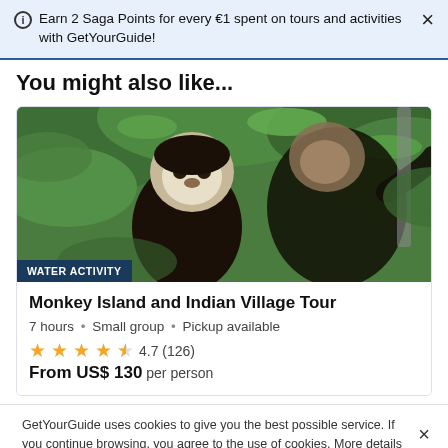Earn 2 Saga Points for every €1 spent on tours and activities with GetYourGuide!
You might also like...
[Figure (photo): Two capuchin monkeys sitting in a tree with green leaves in the background. Badge in lower-left reads 'WATER ACTIVITY'.]
Monkey Island and Indian Village Tour
7 hours • Small group • Pickup available
4.7 (126)
From US$ 130 per person
GetYourGuide uses cookies to give you the best possible service. If you continue browsing, you agree to the use of cookies. More details can be found in our privacy policy.